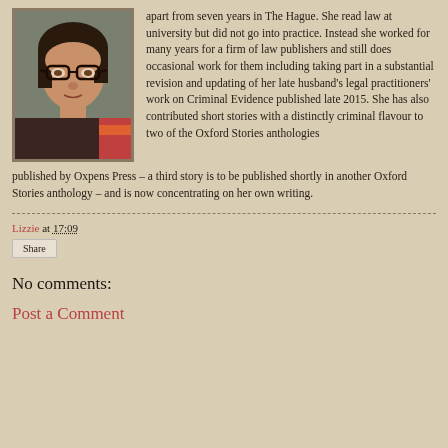[Figure (photo): Portrait photo of an older woman with short dark hair and glasses, wearing a dark top with patterned fabric visible]
apart from seven years in The Hague. She read law at university but did not go into practice. Instead she worked for many years for a firm of law publishers and still does occasional work for them including taking part in a substantial revision and updating of her late husband's legal practitioners' work on Criminal Evidence published late 2015. She has also contributed short stories with a distinctly criminal flavour to two of the Oxford Stories anthologies published by Oxpens Press – a third story is to be published shortly in another Oxford Stories anthology – and is now concentrating on her own writing.
Lizzie at 17:09
Share
No comments:
Post a Comment